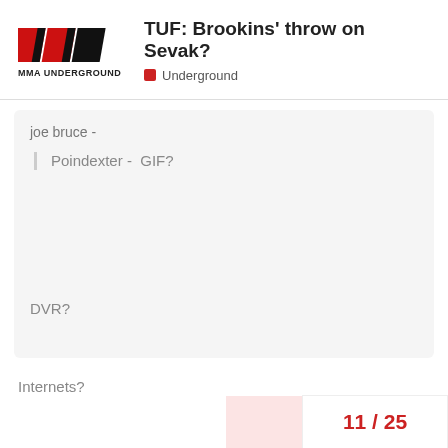TUF: Brookins' throw on Sevak?
Underground
joe bruce -
Poindexter -  GIF?
DVR?
Internets?
11 / 25